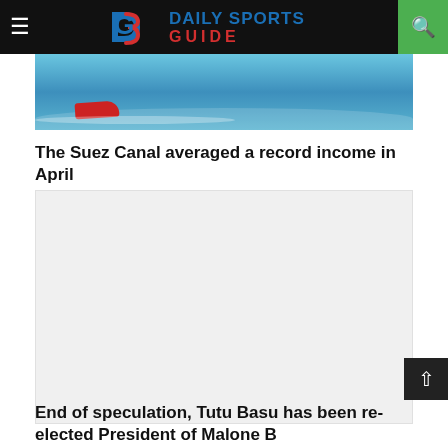Daily Sports Guide
[Figure (photo): Water skiing photo showing a person on red skis on blue water with a wake trail]
The Suez Canal averaged a record income in April
[Figure (other): Advertisement placeholder box (light gray background)]
End of speculation, Tutu Basu has been re-elected President of Malone B...